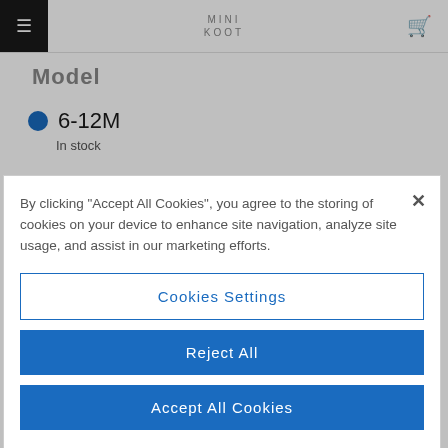MINI KOOT
Model
6-12M — In stock
1-2Y — Temporarily out of stock
By clicking "Accept All Cookies", you agree to the storing of cookies on your device to enhance site navigation, analyze site usage, and assist in our marketing efforts.
Cookies Settings
Reject All
Accept All Cookies